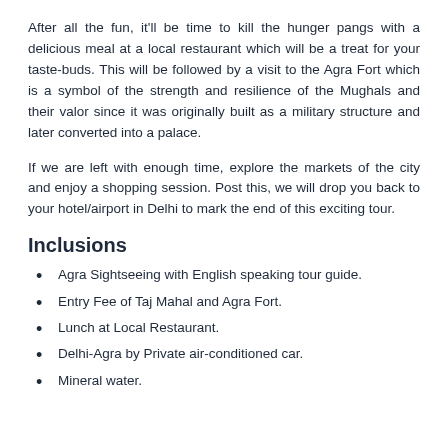After all the fun, it'll be time to kill the hunger pangs with a delicious meal at a local restaurant which will be a treat for your taste-buds. This will be followed by a visit to the Agra Fort which is a symbol of the strength and resilience of the Mughals and their valor since it was originally built as a military structure and later converted into a palace.
If we are left with enough time, explore the markets of the city and enjoy a shopping session. Post this, we will drop you back to your hotel/airport in Delhi to mark the end of this exciting tour.
Inclusions
Agra Sightseeing with English speaking tour guide.
Entry Fee of Taj Mahal and Agra Fort.
Lunch at Local Restaurant.
Delhi-Agra by Private air-conditioned car.
Mineral water.